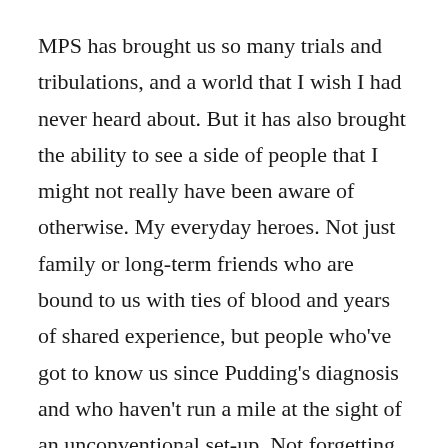MPS has brought us so many trials and tribulations, and a world that I wish I had never heard about. But it has also brought the ability to see a side of people that I might not really have been aware of otherwise. My everyday heroes. Not just family or long-term friends who are bound to us with ties of blood and years of shared experience, but people who've got to know us since Pudding's diagnosis and who haven't run a mile at the sight of an unconventional set-up. Not forgetting the kindness of strangers.
Kindness matters. It really does make a difference. Next time you see someone struggling and wonder whether you should intervene, just offer that help. It might be a small inconvenience to you, but could mean the world